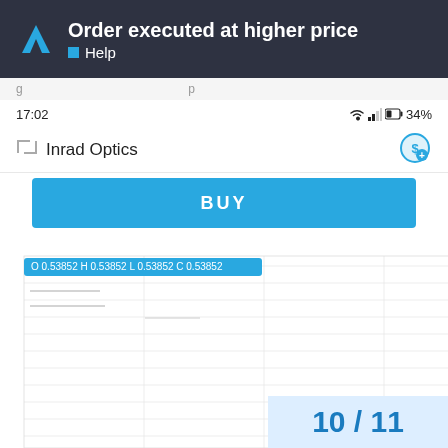Order executed at higher price — Help
17:02   34%
Inrad Optics
BUY
[Figure (continuous-plot): Candlestick/OHLC chart for Inrad Optics showing price levels. OHLC values: O 0.53852, H 0.53852, L 0.53852, C 0.53852. Y-axis price levels: 0.90023, 0.87115, 0.84147 (highlighted), 0.81300, 0.78392, 0.75485, 0.72577, 0.69670, 0.66762, 0.63854, 0.60947, 0.58039. Volume label 1000 visible on right side of chart panel.]
10 / 11